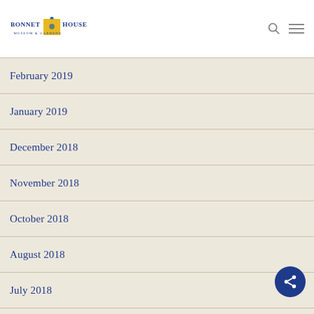[Figure (logo): Bonnet House Museum & Gardens logo with yellow arch/house and blue bird, blue text]
February 2019
January 2019
December 2018
November 2018
October 2018
August 2018
July 2018
May 2018
April 2018